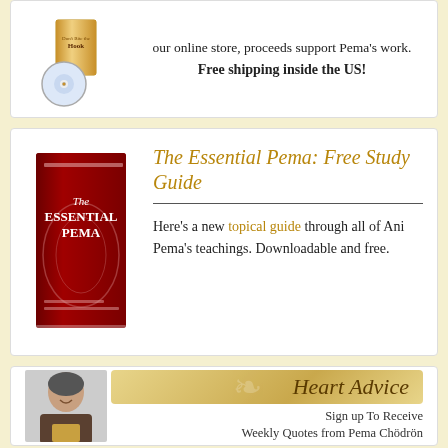our online store, proceeds support Pema's work. Free shipping inside the US!
[Figure (photo): CD and book product photo for 'Don't Bite the Hook']
The Essential Pema: Free Study Guide
[Figure (photo): Book cover of 'The Essential Pema' with red cover]
Here's a new topical guide through all of Ani Pema's teachings. Downloadable and free.
[Figure (photo): Heart Advice banner with photo of Pema Chödrön]
Sign up To Receive Weekly Quotes from Pema Chödrön